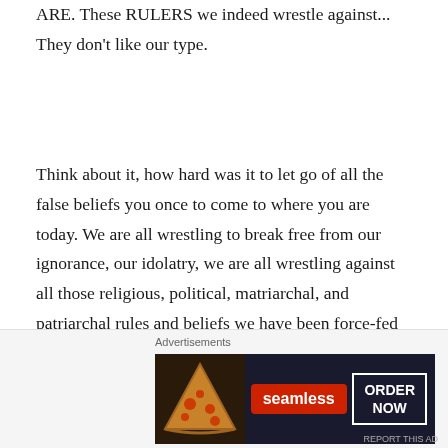ARE. These RULERS we indeed wrestle against... They don't like our type.
Think about it, how hard was it to let go of all the false beliefs you once to come to where you are today. We are all wrestling to break free from our ignorance, our idolatry, we are all wrestling against all those religious, political, matriarchal, and patriarchal rules and beliefs we have been force-fed since birth.
John 3:19
And this is the condemnation, that light is come into
[Figure (other): Seamless food delivery advertisement banner showing pizza image on left, Seamless logo in red, and ORDER NOW button in white border on dark background. Labeled 'Advertisements' above.]